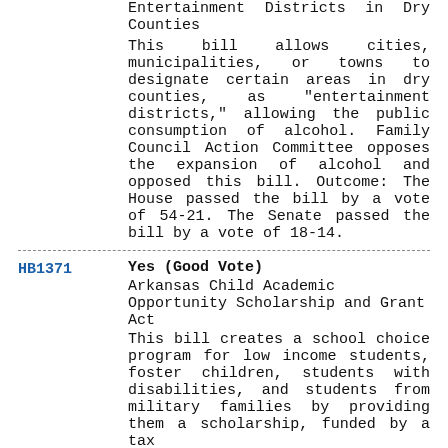Entertainment Districts in Dry Counties
This bill allows cities, municipalities, or towns to designate certain areas in dry counties, as "entertainment districts," allowing the public consumption of alcohol. Family Council Action Committee opposes the expansion of alcohol and opposed this bill. Outcome: The House passed the bill by a vote of 54-21. The Senate passed the bill by a vote of 18-14.
HB1371 | Yes (Good Vote) | Arkansas Child Academic Opportunity Scholarship and Grant Act | This bill creates a school choice program for low income students, foster children, students with disabilities, and students from military families by providing them a scholarship, funded by a tax